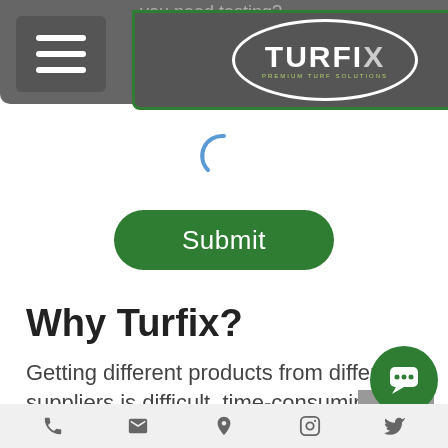[Figure (screenshot): TURFiX website header with hamburger menu icon and oval TURFiX logo on gray background bar]
[Figure (other): Blue loading spinner arc icon]
[Figure (other): Green rounded Submit button]
Why Turfix?
Getting different products from different suppliers is difficult, time-consuming and not efficient. What makes Turfix so popular is that we cut all of this
[Figure (other): Gray scroll-to-top button with upward chevron]
[Figure (other): Green circular chat bubble icon]
Phone | Email | Location | Instagram | Twitter icons